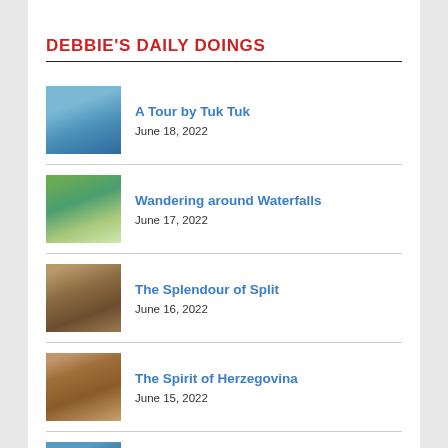DEBBIE'S DAILY DOINGS
A Tour by Tuk Tuk
June 18, 2022
Wandering around Waterfalls
June 17, 2022
The Splendour of Split
June 16, 2022
The Spirit of Herzegovina
June 15, 2022